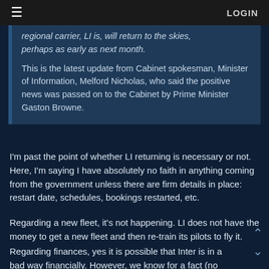≡  LOGIN
regional carrier, LI is, will return to the skies, perhaps as early as next month.

This is the latest update from Cabinet spokesman, Minister of Information, Melford Nicholas, who said the positive news was passed on to the Cabinet by Prime Minister Gaston Browne.
I'm past the point of whether LI returning is necessary or not. Here, I'm saying I have absolutely no faith in anything coming from the government unless there are firm details in place: restart date, schedules, bookings restarted, etc.
Regarding a new fleet, it's not happening. LI does not have the money to get a new fleet and then re-train its pilots to fly it.
Regarding finances, yes it is possible that Inter is in a bad way financially. However, we know for a fact (no need to wonder) that LI is. And in terms of backing, LI is currently in an equally precarious situation. The GoAB does not have the ability at this time to continue to keep LI afloat and no help is going to be coming from anywhere else now that BGI and SVD are no longer shareholders. If BW, who is getting